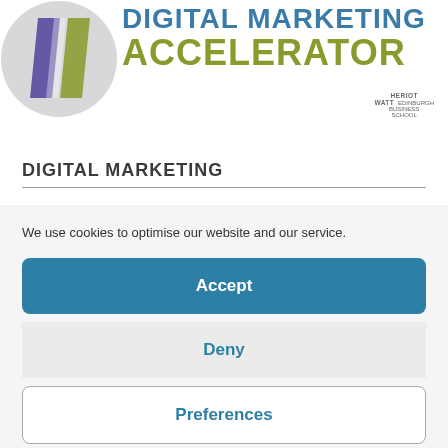[Figure (logo): Digital Marketing Accelerator logo with geometric purple and olive/yellow shapes in a grey circle, and the text DIGITAL MARKETING ACCELERATOR in blue and olive/green. Heriot-Watt Edinburgh Business School logo at bottom right.]
DIGITAL MARKETING
We use cookies to optimise our website and our service.
Accept
Deny
Preferences